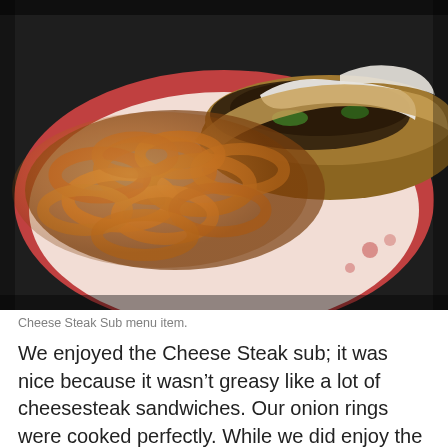[Figure (photo): Overhead view of a Cheese Steak Sub with onion rings served in a red basket lined with white/pink paper. The sub has melted white cheese and green peppers visible, alongside a large pile of golden-brown onion rings.]
Cheese Steak Sub menu item.
We enjoyed the Cheese Steak sub; it was nice because it wasn't greasy like a lot of cheesesteak sandwiches. Our onion rings were cooked perfectly. While we did enjoy the sandwich, it seemed bland. We tasted the onions and cheese, but we couldn't taste the other ingredients. I expected these flavors when biting into the sub.
However, that doesn't mean it's a bad sandwich. It was cooked differently than I'm used to. Anyone